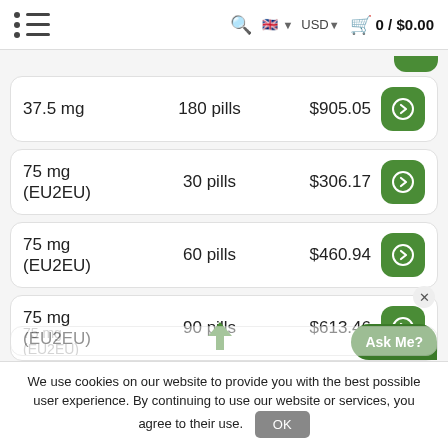0 / $0.00
37.5 mg | 180 pills | $905.05
75 mg (EU2EU) | 30 pills | $306.17
75 mg (EU2EU) | 60 pills | $460.94
75 mg (EU2EU) | 90 pills | $613.46
We use cookies on our website to provide you with the best possible user experience. By continuing to use our website or services, you agree to their use.